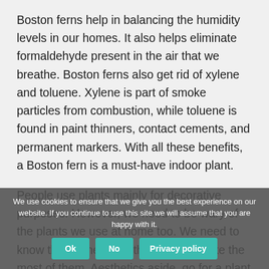Boston ferns help in balancing the humidity levels in our homes. It also helps eliminate formaldehyde present in the air that we breathe. Boston ferns also get rid of xylene and toluene. Xylene is part of smoke particles from combustion, while toluene is found in paint thinners, contact cements, and permanent markers. With all these benefits, a Boston fern is a must-have indoor plant.
People use plants mainly for decorative purposes. However, we need to be wary of the plants we use at home too. We need to know their benefits so that we can make the most of them. Aesthetics aside, go for a plant that will make you healthy while also being visually appealing.
We use cookies to ensure that we give you the best experience on our website. If you continue to use this site we will assume that you are happy with it.